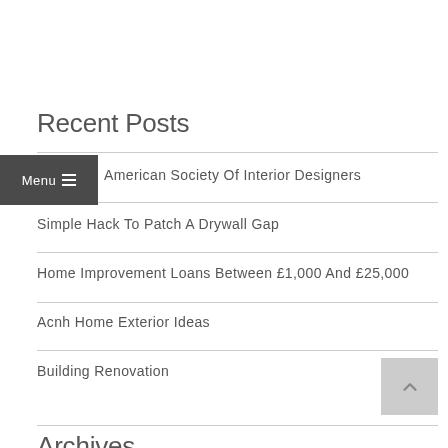Recent Posts
American Society Of Interior Designers
Simple Hack To Patch A Drywall Gap
Home Improvement Loans Between £1,000 And £25,000
Acnh Home Exterior Ideas
Building Renovation
Archives